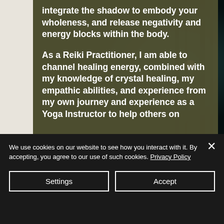[Figure (photo): Dark teal/forest background photo on the right side of the page, partially obscured by olive-colored text overlay]
integrate the shadow to embody your wholeness, and release negativity and energy blocks within the body.

As a Reiki Practitioner, I am able to channel healing energy, combined with my knowledge of crystal healing, my empathic abilities, and experience from my own journey and experience as a Yoga Instructor to help others on
We use cookies on our website to see how you interact with it. By accepting, you agree to our use of such cookies. Privacy Policy